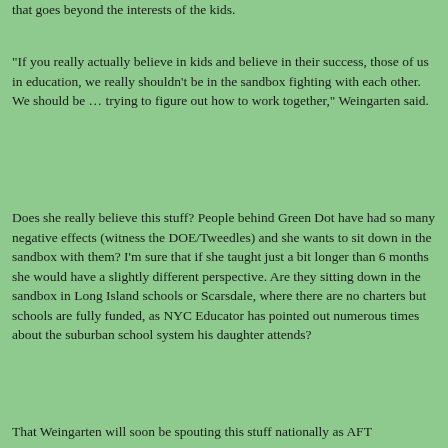that goes beyond the interests of the kids.
"If you really actually believe in kids and believe in their success, those of us in education, we really shouldn't be in the sandbox fighting with each other. We should be … trying to figure out how to work together," Weingarten said.
Does she really believe this stuff? People behind Green Dot have had so many negative effects (witness the DOE/Tweedles) and she wants to sit down in the sandbox with them? I'm sure that if she taught just a bit longer than 6 months she would have a slightly different perspective. Are they sitting down in the sandbox in Long Island schools or Scarsdale, where there are no charters but schools are fully funded, as NYC Educator has pointed out numerous times about the suburban school system his daughter attends?
That Weingarten will soon be spouting this stuff nationally as AFT